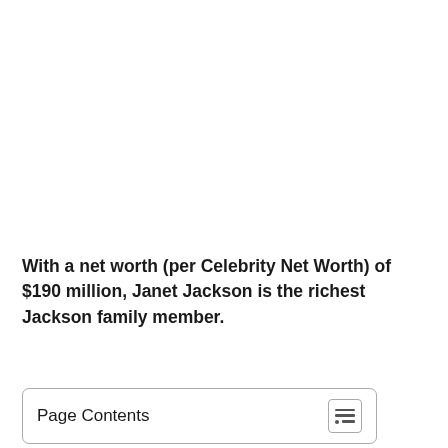With a net worth (per Celebrity Net Worth) of $190 million, Janet Jackson is the richest Jackson family member.
Page Contents